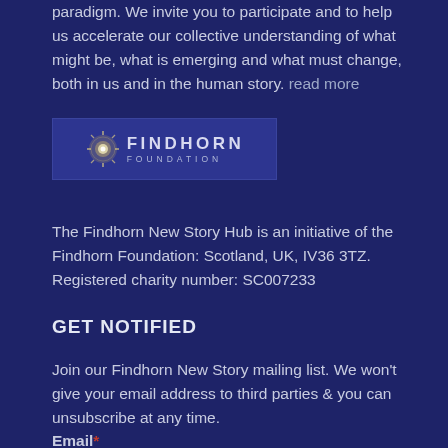paradigm. We invite you to participate and to help us accelerate our collective understanding of what might be, what is emerging and what must change, both in us and in the human story. read more
[Figure (logo): Findhorn Foundation logo with golden star on left and text FINDHORN FOUNDATION on right, on a blue/purple background]
The Findhorn New Story Hub is an initiative of the Findhorn Foundation: Scotland, UK, IV36 3TZ. Registered charity number: SC007233
GET NOTIFIED
Join our Findhorn New Story mailing list. We won't give your email address to third parties & you can unsubscribe at any time.
Email *